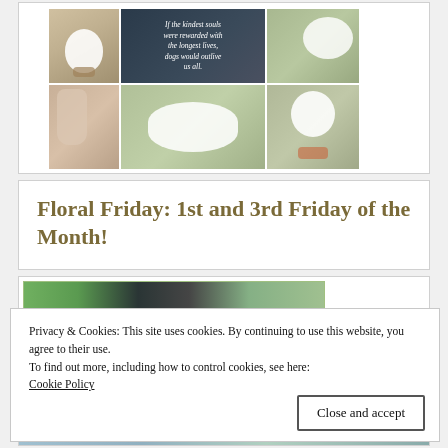[Figure (photo): A 2x3 grid collage of small white fluffy dogs (likely Bichon Frise or Maltese). Top row: dog with bow tie on left, dark image with white text quote in center, dog on green blanket on right. Bottom row: dog paw close-up on left, white fluffy dog lying on green blanket in center, small white dog with floral collar on right.]
Floral Friday: 1st and 3rd Friday of the Month!
[Figure (photo): Partial view of a floral/garden themed image strip at the top of the lower card section, partially obscured by the cookie consent banner.]
Privacy & Cookies: This site uses cookies. By continuing to use this website, you agree to their use.
To find out more, including how to control cookies, see here:
Cookie Policy